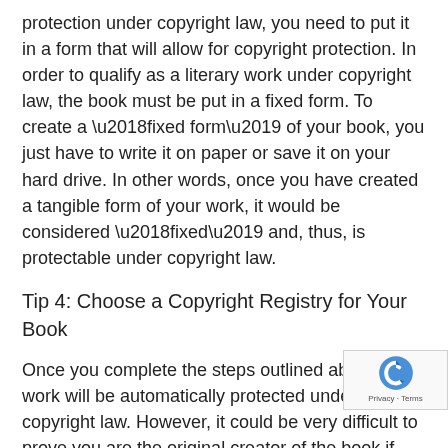protection under copyright law, you need to put it in a form that will allow for copyright protection. In order to qualify as a literary work under copyright law, the book must be put in a fixed form. To create a ‘fixed form’ of your book, you just have to write it on paper or save it on your hard drive. In other words, once you have created a tangible form of your work, it would be considered ‘fixed’ and, thus, is protectable under copyright law.
Tip 4: Choose a Copyright Registry for Your Book
Once you complete the steps outlined above, your work will be automatically protected under copyright law. However, it could be very difficult to prove you are the original creator of the book if infringement occurs. As such, many authors choose to register their books with a copyright registry.
Note: US citizens can register their book with any copyright registry; however, if they want to take their claim to court, they will have to register with the US Copyright Office. This